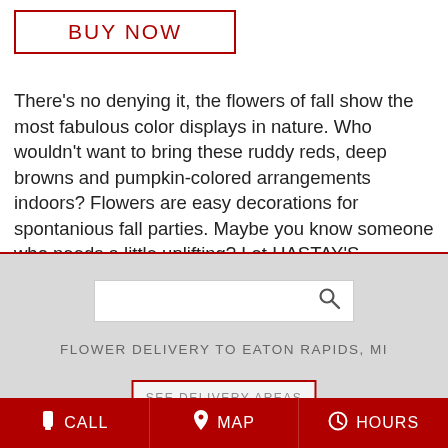BUY NOW
There's no denying it, the flowers of fall show the most fabulous color displays in nature. Who wouldn't want to bring these ruddy reds, deep browns and pumpkin-colored arrangements indoors? Flowers are easy decorations for spontanious fall parties. Maybe you know someone who needs a little uplifting? Let HASTAY'S GREENHOUSE & FLOWER SHOP help you send fall flowers in a variety of autum colors.
FLOWER DELIVERY TO EATON RAPIDS, MI
SEE DELIVERY AREAS
CALL  MAP  HOURS